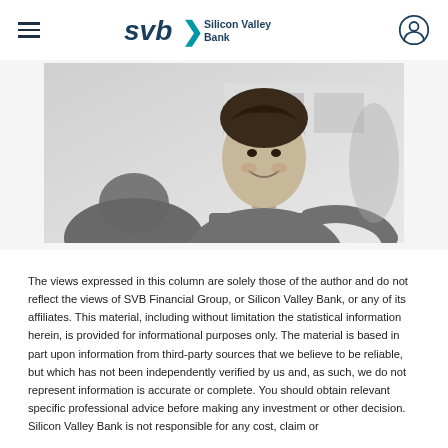SVB Silicon Valley Bank
[Figure (photo): Black and white photo of a smiling person in an office setting, with another person in the foreground out of focus.]
The views expressed in this column are solely those of the author and do not reflect the views of SVB Financial Group, or Silicon Valley Bank, or any of its affiliates. This material, including without limitation the statistical information herein, is provided for informational purposes only. The material is based in part upon information from third-party sources that we believe to be reliable, but which has not been independently verified by us and, as such, we do not represent information is accurate or complete. You should obtain relevant specific professional advice before making any investment or other decision. Silicon Valley Bank is not responsible for any cost, claim or